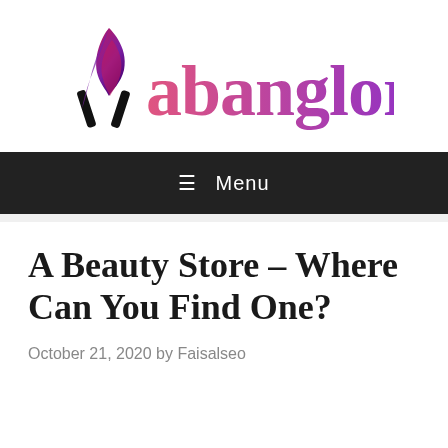[Figure (logo): Abanglori website logo with stylized flame/letter A icon in purple-pink gradient and the text 'Abanglori' in gradient from pink to purple]
≡ Menu
A Beauty Store – Where Can You Find One?
October 21, 2020 by Faisalseo